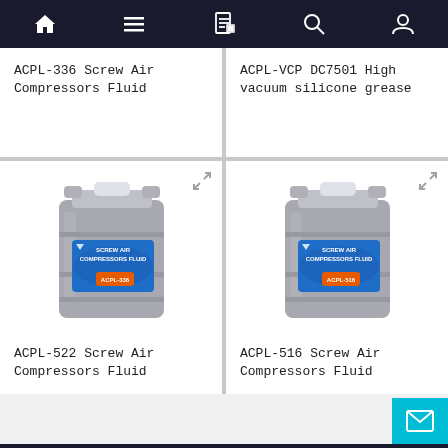Navigation bar with home, menu, document, search, and user icons
ACPL-336 Screw Air Compressors Fluid
ACPL-VCP DC7501 High vacuum silicone grease
[Figure (photo): Gray plastic canister with blue label reading SCREW AIR COMPRESSORS FLUID ACPL-336]
[Figure (photo): Gray plastic canister with blue label reading SCREW AIR COMPRESSORS FLUID ACPL-516]
ACPL-522 Screw Air Compressors Fluid
ACPL-516 Screw Air Compressors Fluid